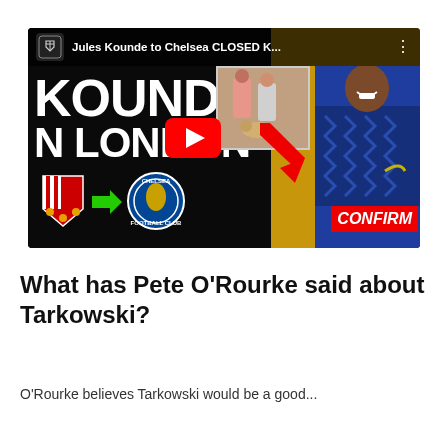[Figure (screenshot): YouTube video thumbnail showing Jules Kounde transfer news. Black background with 'KOUNDE IN LONDON' text in large white bold letters, Sevilla and Chelsea FC logos with green arrow between them, a player photo on the right wearing Chelsea blue kit, a photo inset of people with a dog, a red play button in the center, and a red 'CONFIRMED' banner. Video title reads 'Jules Kounde to Chelsea CLOSED K...']
What has Pete O'Rourke said about Tarkowski?
O'Rourke believes Tarkowski would be a good...